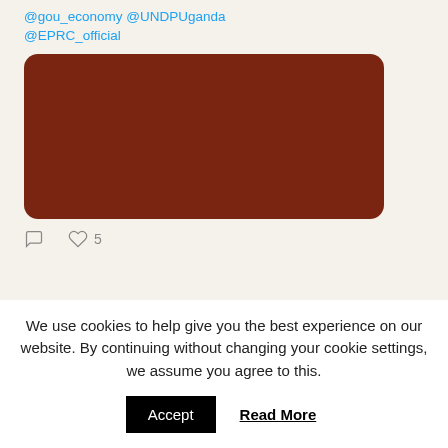@gou_economy @UNDPUganda @EPRC_official
[Figure (photo): Dark reddish-brown rectangular image block (content not visible)]
5 likes
OPHI @ophi_oxford · Sep 1 Subscribe to Dimensions magazine from the
We use cookies to help give you the best experience on our website. By continuing without changing your cookie settings, we assume you agree to this. Accept Read More